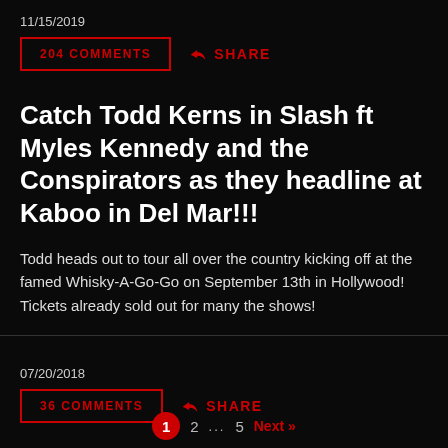11/15/2019
204 COMMENTS   SHARE
Catch Todd Kerns in Slash ft Myles Kennedy and the Conspirators as they headline at Kaboo in Del Mar!!!
Todd heads out to tour all over the country kicking off at the famed Whisky-A-Go-Go on September 13th in Hollywood! Tickets already sold out for many the shows!
07/20/2018
36 COMMENTS   SHARE
1  2  ...  5  Next »